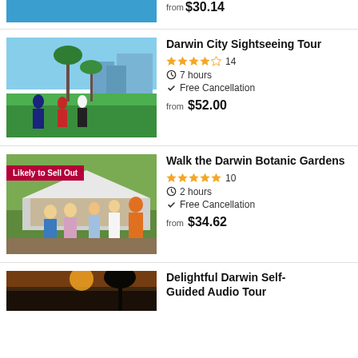[Figure (photo): Partial top image of a tour listing with teal/blue background, cropped]
from $30.14
[Figure (photo): Photo of people walking in a park with palm trees, green lawn, and city buildings in background — Darwin City Sightseeing Tour]
Darwin City Sightseeing Tour
★★★★☆ 14
7 hours
Free Cancellation
from $52.00
[Figure (photo): Photo of group of tourists with a guide at the Darwin Botanic Gardens — badge says Likely to Sell Out]
Walk the Darwin Botanic Gardens
★★★★★ 10
2 hours
Free Cancellation
from $34.62
[Figure (photo): Partial bottom photo showing sunset/dark landscape]
Delightful Darwin Self-Guided Audio Tour